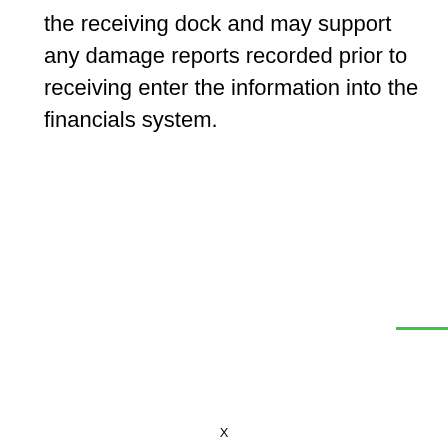the receiving dock and may support any damage reports recorded prior to receiving enter the information into the financials system.
X